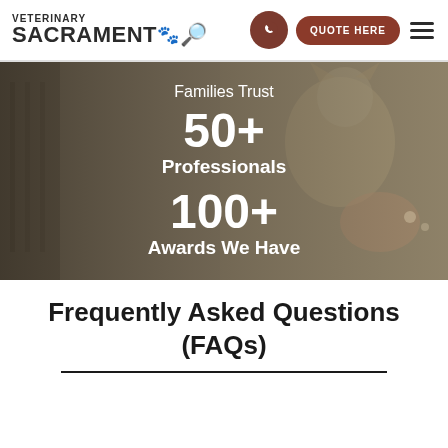VETERINARY SACRAMENTO [logo] QUOTE HERE [menu]
[Figure (photo): Hero banner with a cat being held, overlaid with stats: 'Families Trust', '50+ Professionals', '100+ Awards We Have' on a dark-tinted veterinary clinic background]
Families Trust
50+
Professionals
100+
Awards We Have
Frequently Asked Questions (FAQs)